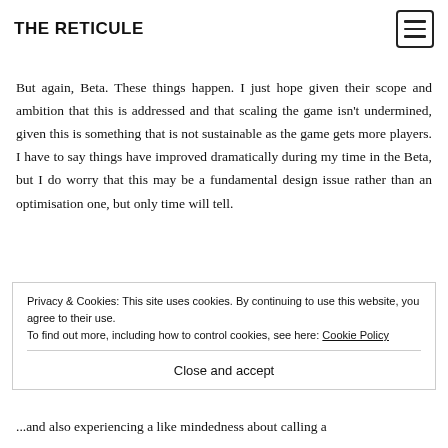THE RETICULE
But again, Beta. These things happen. I just hope given their scope and ambition that this is addressed and that scaling the game isn't undermined, given this is something that is not sustainable as the game gets more players. I have to say things have improved dramatically during my time in the Beta, but I do worry that this may be a fundamental design issue rather than an optimisation one, but only time will tell.
So in short, can you find the alpha?
Privacy & Cookies: This site uses cookies. By continuing to use this website, you agree to their use.
To find out more, including how to control cookies, see here: Cookie Policy
Close and accept
...and also experiencing a like mindedness about calling a